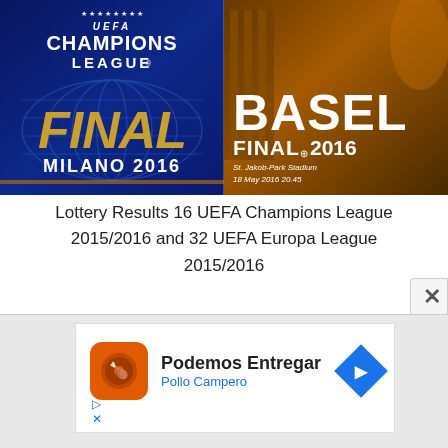[Figure (illustration): Two side-by-side promotional posters. Left: UEFA Champions League Final Milano 2016 poster with blue background and globe motif. Right: UEFA Europa League Basel Final 2016 poster with orange/gold background showing a trophy and stadium.]
Lottery Results 16 UEFA Champions League 2015/2016 and 32 UEFA Europa League 2015/2016
[Figure (screenshot): Advertisement popup with close (X) button. Contains an ad for Pollo Campero: 'Podemos Entregar' with blue navigation arrow icon. Small play and close icons at bottom left.]